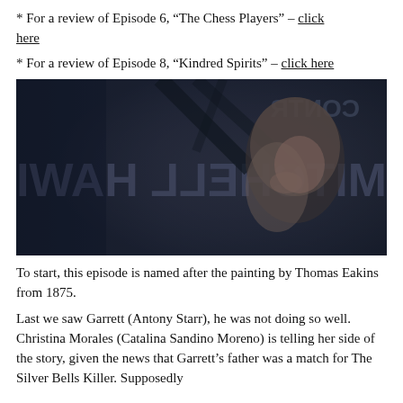* For a review of Episode 6, “The Chess Players” – click here
* For a review of Episode 8, “Kindred Spirits” – click here
[Figure (photo): Dark scene showing a woman with blonde hair in front of a mirrored/reversed sign reading MITCHELL HAWI (mirrored text), dark blue-grey tones]
To start, this episode is named after the painting by Thomas Eakins from 1875.
Last we saw Garrett (Antony Starr), he was not doing so well. Christina Morales (Catalina Sandino Moreno) is telling her side of the story, given the news that Garrett’s father was a match for The Silver Bells Killer. Supposedly